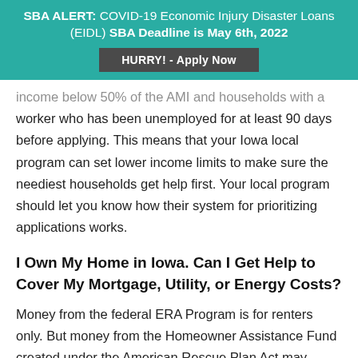SBA ALERT: COVID-19 Economic Injury Disaster Loans (EIDL) SBA Deadline is May 6th, 2022
HURRY! - Apply Now
income below 50% of the AMI and households with a worker who has been unemployed for at least 90 days before applying. This means that your Iowa local program can set lower income limits to make sure the neediest households get help first. Your local program should let you know how their system for prioritizing applications works.
I Own My Home in Iowa. Can I Get Help to Cover My Mortgage, Utility, or Energy Costs?
Money from the federal ERA Program is for renters only. But money from the Homeowner Assistance Fund created under the American Rescue Plan Act may